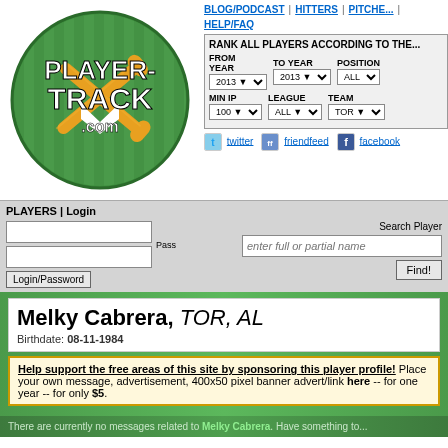[Figure (logo): PlayerTrack.com logo with crossed baseball bats and green circle]
BLOG/PODCAST | HITTERS | PITCHERS | HELP/FAQ
RANK ALL PLAYERS ACCORDING TO THE... FROM YEAR 2013, TO YEAR 2013, POSITION ALL, MIN IP 100, LEAGUE ALL, TEAM TOR
twitter  friendfeed  facebook
PLAYERS | Login
Pass  Search Player  enter full or partial name  Find!  Login/Password
Melky Cabrera, TOR, AL
Birthdate: 08-11-1984
Help support the free areas of this site by sponsoring this player profile! Place your own message, advertisement, 400x50 pixel banner advert/link here -- for one year -- for only $5.
There are currently no messages related to Melky Cabrera. Have something to...